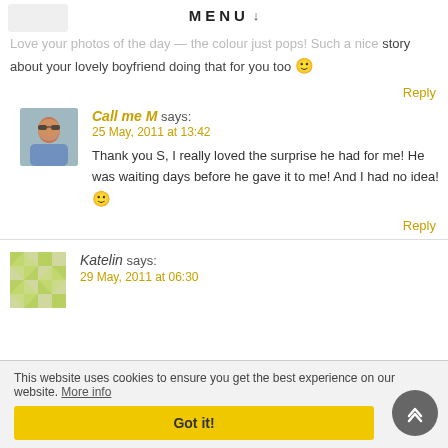MENU ↓
Love your photos of the day — the colour just pops! Such a nice story about your lovely boyfriend doing that for you too 🙂
Reply
Call me M says:
25 May, 2011 at 13:42

Thank you S, I really loved the surprise he had for me! He was waiting days before he gave it to me! And I had no idea! 🙂
Reply
Katelin says:
29 May, 2011 at 06:30
This website uses cookies to ensure you get the best experience on our website. More info
Got it!